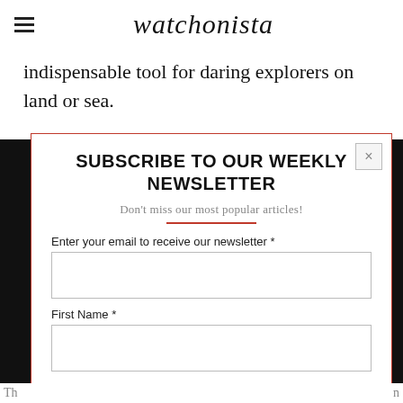watchonista
indispensable tool for daring explorers on land or sea.
SUBSCRIBE TO OUR WEEKLY NEWSLETTER
Don't miss our most popular articles!
Enter your email to receive our newsletter *
First Name *
Last Name *
Th  n